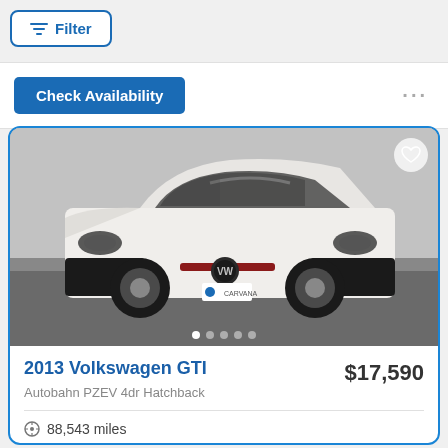Filter
Check Availability
[Figure (photo): White 2013 Volkswagen GTI Hatchback front 3/4 view in a dealership showroom, with Carvana license plate frame. Five carousel dots at bottom.]
2013 Volkswagen GTI
$17,590
Autobahn PZEV 4dr Hatchback
88,543 miles